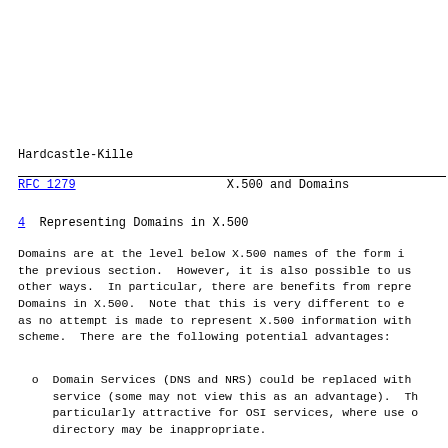Hardcastle-Kille
RFC 1279                    X.500 and Domains
4  Representing Domains in X.500
Domains are at the level below X.500 names of the form i the previous section.  However, it is also possible to us other ways.  In particular, there are benefits from repre Domains in X.500.  Note that this is very different to e as no attempt is made to represent X.500 information with scheme.  There are the following potential advantages:
o  Domain Services (DNS and NRS) could be replaced with service (some may not view this as an advantage).  T particularly attractive for OSI services, where use directory may be inappropriate.